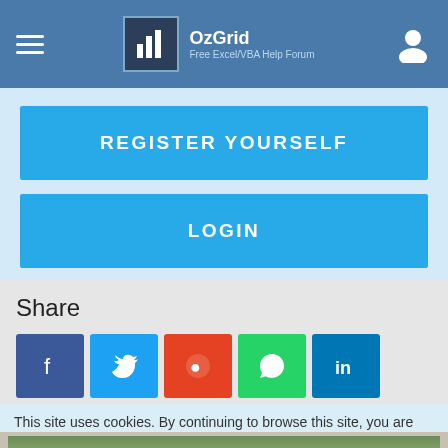OzGrid — Free Excel/VBA Help Forum
REGISTER YOURSELF
LOGIN
Share
[Figure (infographic): Social sharing buttons: Facebook, Twitter, Reddit, WhatsApp, LinkedIn, Pinterest, and one more (teal/green checkmark button)]
This site uses cookies. By continuing to browse this site, you are
[Figure (photo): Advertisement banner showing wolves in a field with text THE HUNT IS ON!]